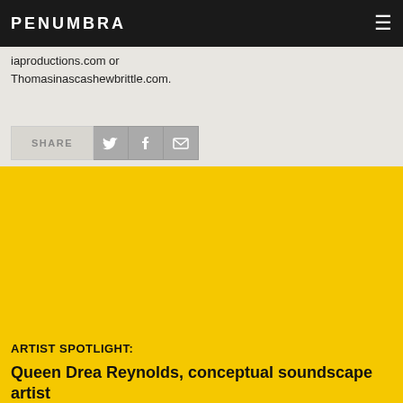PENUMBRA
iaproductions.com or Thomasinascashewbrittle.com.
SHARE
ARTIST SPOTLIGHT:
Queen Drea Reynolds, conceptual soundscape artist
[Figure (photo): Portrait photo of Queen Drea Reynolds, a Black woman with short natural hair, smiling, wearing a dark top with colorful necklace and teal earrings, photographed against a light grey background.]